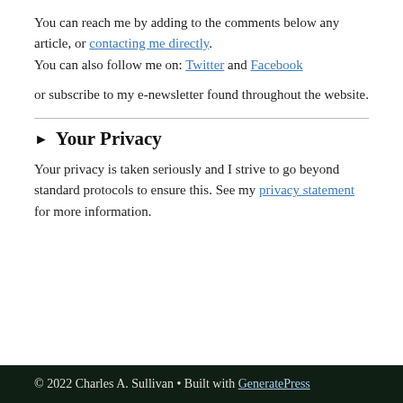You can reach me by adding to the comments below any article, or contacting me directly. You can also follow me on: Twitter and Facebook
or subscribe to my e-newsletter found throughout the website.
▶ Your Privacy
Your privacy is taken seriously and I strive to go beyond standard protocols to ensure this. See my privacy statement for more information.
© 2022 Charles A. Sullivan • Built with GeneratePress